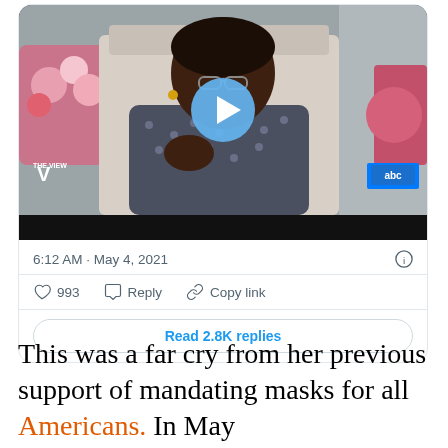[Figure (screenshot): Screenshot of a tweet showing a video thumbnail from The View on ABC. The video shows a woman in a patterned shirt with a play button overlay. Tweet timestamp reads 6:12 AM · May 4, 2021. Shows 993 likes, Reply, Copy link actions, and a Read 2.8K replies button.]
This was a far cry from her previous support of mandating masks for all Americans. In May 2021, Goldberg seems to have changed her...